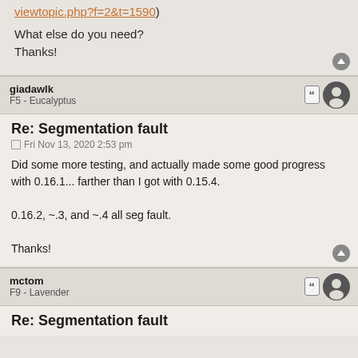viewtopic.php?f=2&t=1590)
What else do you need?
Thanks!
giadawlk
F5 - Eucalyptus
Re: Segmentation fault
Fri Nov 13, 2020 2:53 pm
Did some more testing, and actually made some good progress with 0.16.1... farther than I got with 0.15.4.

0.16.2, ~.3, and ~.4 all seg fault.

Thanks!
mctom
F9 - Lavender
Re: Segmentation fault